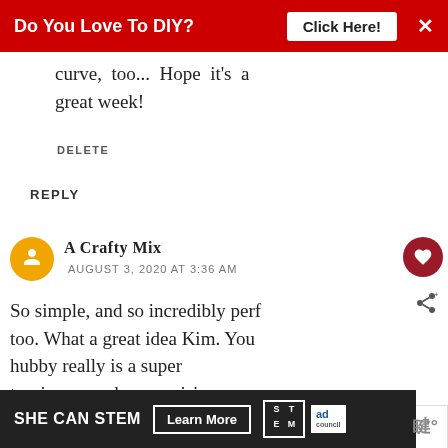[Figure (screenshot): Red banner advertisement: 'Do You Love To DIY?' with 'Click Here!' button and X close icon]
curve, too... Hope it's a great week!
DELETE
REPLY
A Crafty Mix
AUGUST 3, 2020 AT 3:36 AM
So simple, and so incredibly perf too. What a great idea Kim. Your hubby really is a super turning your dreamy vision into reality